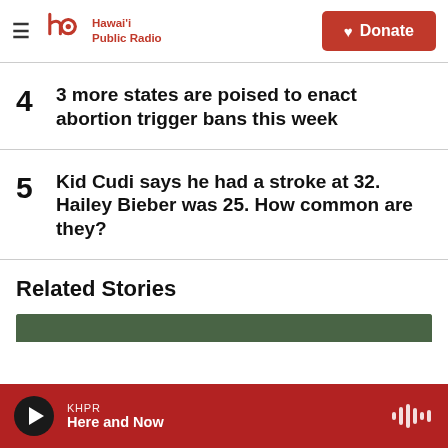Hawai'i Public Radio | Donate
4  3 more states are poised to enact abortion trigger bans this week
5  Kid Cudi says he had a stroke at 32. Hailey Bieber was 25. How common are they?
Related Stories
KHPR  Here and Now